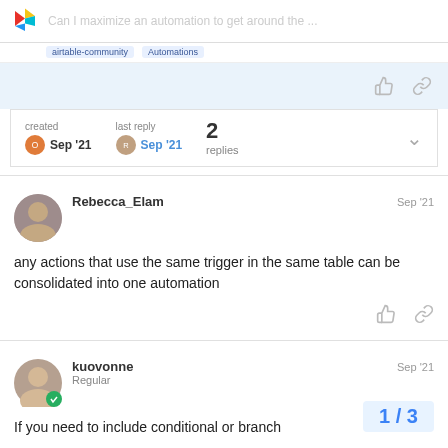Can I maximize an automation to get around the ...
created Sep '21  last reply Sep '21  2 replies
Rebecca_Elam  Sep '21
any actions that use the same trigger in the same table can be consolidated into one automation
kuovonne  Regular  Sep '21
If you need to include conditional or branch...
1 / 3